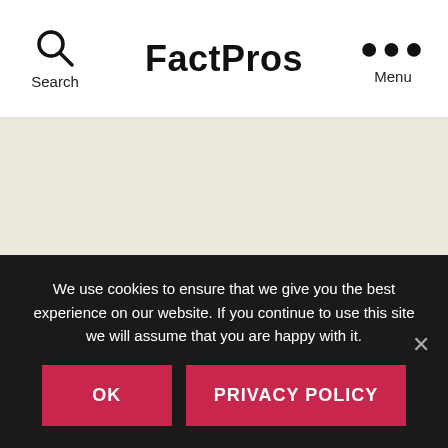Search | FactPros | Menu
[Figure (screenshot): Beige/cream colored empty main content area background]
We use cookies to ensure that we give you the best experience on our website. If you continue to use this site we will assume that you are happy with it.
OK | PRIVACY POLICY